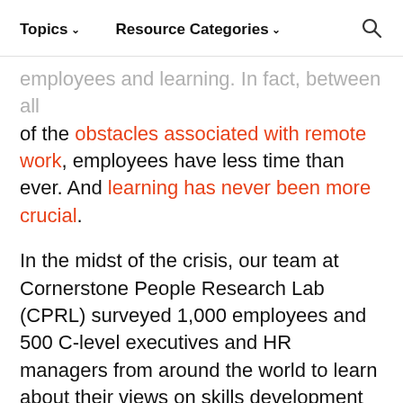Topics  Resource Categories  [search]
employees and learning. In fact, between all of the obstacles associated with remote work, employees have less time than ever. And learning has never been more crucial.
In the midst of the crisis, our team at Cornerstone People Research Lab (CPRL) surveyed 1,000 employees and 500 C-level executives and HR managers from around the world to learn about their views on skills development in the modern workplace. Our findings, compiled in our report, "A License to Skill: Embracing the Reskilling